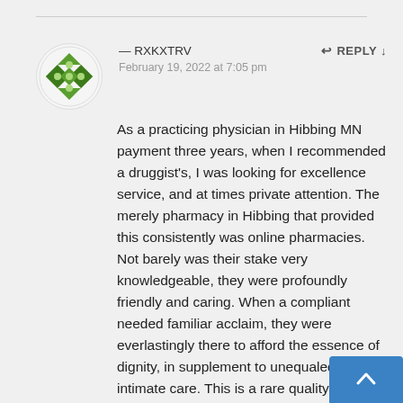— RXKXTRV
February 19, 2022 at 7:05 pm
As a practicing physician in Hibbing MN payment three years, when I recommended a druggist's, I was looking for excellence service, and at times private attention. The merely pharmacy in Hibbing that provided this consistently was online pharmacies. Not barely was their stake very knowledgeable, they were profoundly friendly and caring. When a compliant needed familiar acclaim, they were everlastingly there to afford the essence of dignity, in supplement to unequaled intimate care. This is a rare quality in this hour and age. Not not is BaronвЂ™s the most skilfully dispensary in Hibbing, I wish that their miniature would be the sample of contrs country, but due to multiple factors it is